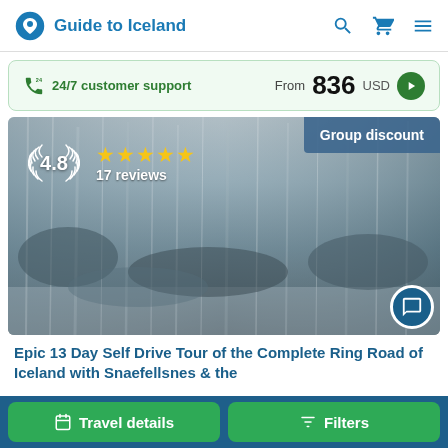Guide to Iceland
24/7 customer support  From 836 USD
[Figure (photo): Waterfall scene — dramatic cascading waterfall with mist, grey-blue tones, serves as hero image for tour listing]
4.8  ★★★★★  17 reviews  Group discount
Epic 13 Day Self Drive Tour of the Complete Ring Road of Iceland with Snaefellsnes & the
Travel details  Filters